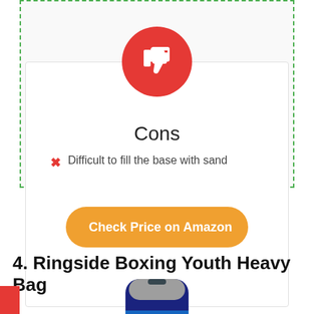[Figure (illustration): Red circle with white thumbs-down icon, representing 'Cons' section header]
Cons
Difficult to fill the base with sand
[Figure (illustration): Amazon 'Check Price on Amazon' button with orange background and Amazon logo]
4. Ringside Boxing Youth Heavy Bag
[Figure (photo): Partial photo of a boxing heavy bag, dark colored, top portion visible]